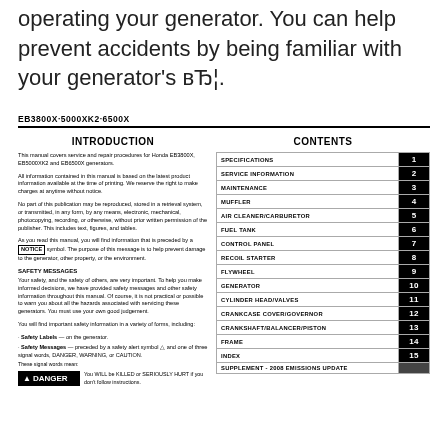operating your generator. You can help prevent accidents by being familiar with your generator's вЂ¦.
EB3800X·5000XK2·6500X
INTRODUCTION
CONTENTS
This manual covers service and repair procedures for Honda EB3800X, EB5000XK2 and EB6500X generators.
All information contained in this manual is based on the latest product information available at the time of printing. We reserve the right to make charges at anytime without notice.
No part of this publication may be reproduced, stored in a retrieval system, or transmitted, in any form, by any means, electronic, mechanical, photocopying, recording, or otherwise, without prior written permission of the publisher. This includes text, figures, and tables.
As you read this manual, you will find information that is preceded by a NOTICE symbol. The purpose of this message is to help prevent damage to the generator, other property, or the environment.
SAFETY MESSAGES
Your safety, and the safety of others, are very important. To help you make informed decisions, we have provided safety messages and other safety information throughout this manual. Of course, it is not practical or possible to warn you about all the hazards associated with servicing these generators. You must use your own good judgement.
You will find important safety information in a variety of forms, including:
· Safety Labels — on the generator.
· Safety Messages — preceded by a safety alert symbol and one of three signal words, DANGER, WARNING, or CAUTION.
These signal words mean:
DANGER — You WILL be KILLED or SERIOUSLY HURT if you don't follow instructions.
| SECTION | NUMBER |
| --- | --- |
| SPECIFICATIONS | 1 |
| SERVICE INFORMATION | 2 |
| MAINTENANCE | 3 |
| MUFFLER | 4 |
| AIR CLEANER/CARBURETOR | 5 |
| FUEL TANK | 6 |
| CONTROL PANEL | 7 |
| RECOIL STARTER | 8 |
| FLYWHEEL | 9 |
| GENERATOR | 10 |
| CYLINDER HEAD/VALVES | 11 |
| CRANKCASE COVER/GOVERNOR | 12 |
| CRANKSHAFT/BALANCER/PISTON | 13 |
| FRAME | 14 |
| INDEX | 15 |
| SUPPLEMENT - 2008 EMISSIONS UPDATE |  |